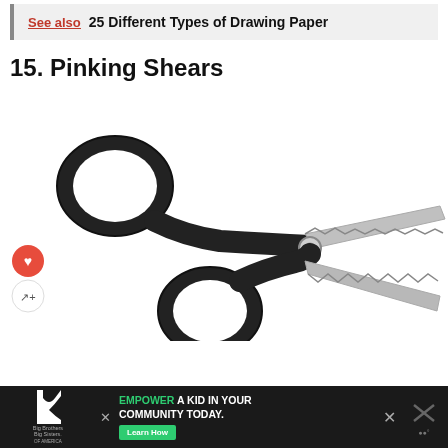See also  25 Different Types of Drawing Paper
15. Pinking Shears
[Figure (photo): A pair of pinking shears with black handles and serrated/zigzag blades, open scissors position on white background. Social media buttons (heart and share) on the left side.]
[Figure (infographic): Advertisement bar at the bottom: Big Brothers Big Sisters logo on left, 'EMPOWER A KID IN YOUR COMMUNITY TODAY.' text in center with green 'Learn How' button, close X button, and a weather/app icon on the right.]